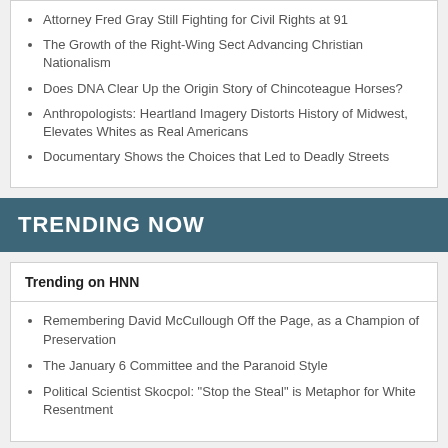Attorney Fred Gray Still Fighting for Civil Rights at 91
The Growth of the Right-Wing Sect Advancing Christian Nationalism
Does DNA Clear Up the Origin Story of Chincoteague Horses?
Anthropologists: Heartland Imagery Distorts History of Midwest, Elevates Whites as Real Americans
Documentary Shows the Choices that Led to Deadly Streets
TRENDING NOW
Trending on HNN
Remembering David McCullough Off the Page, as a Champion of Preservation
The January 6 Committee and the Paranoid Style
Political Scientist Skocpol: "Stop the Steal" is Metaphor for White Resentment
[Figure (photo): Book cover image partially visible at bottom of page]